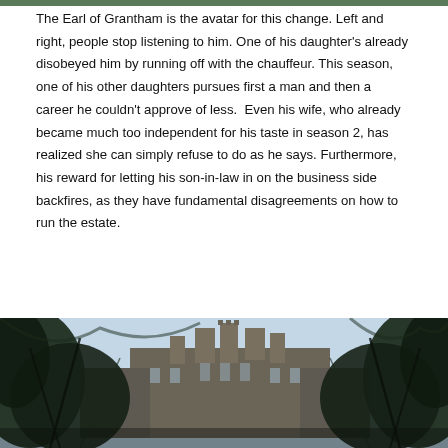[Figure (photo): Partial top edge of a photo, cropped — dark green/foliage tones visible at the very top of the page]
The Earl of Grantham is the avatar for this change. Left and right, people stop listening to him. One of his daughter's already disobeyed him by running off with the chauffeur. This season, one of his other daughters pursues first a man and then a career he couldn't approve of less.  Even his wife, who already became much too independent for his taste in season 2, has realized she can simply refuse to do as he says. Furthermore, his reward for letting his son-in-law in on the business side backfires, as they have fundamental disagreements on how to run the estate.
[Figure (photo): Photograph of a large stately manor or castle (likely Highclere Castle / Downton Abbey) viewed through tree branches with dark foliage in the foreground and a bright sky behind the building.]